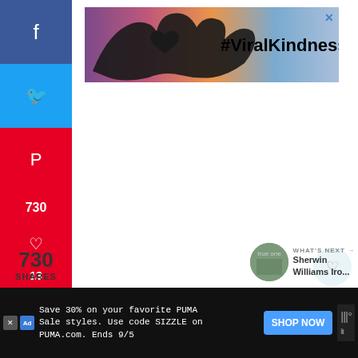[Figure (screenshot): Advertisement banner with #ViralKindness text and heart-shaped hands silhouette against a colorful sunset sky]
[Figure (screenshot): Left sidebar social sharing buttons: Facebook (blue), Twitter (cyan), Pinterest (red with count 730), heart/like (red with count 13), email (green)]
730
SHARES
WHAT'S NEXT →
Sherwin Williams Iro...
[Figure (screenshot): Bottom advertisement bar: Save 30% on your favorite PUMA Sale styles. Use code SIZZLE on PUMA.com. Ends 9/5 with SHOP NOW button]